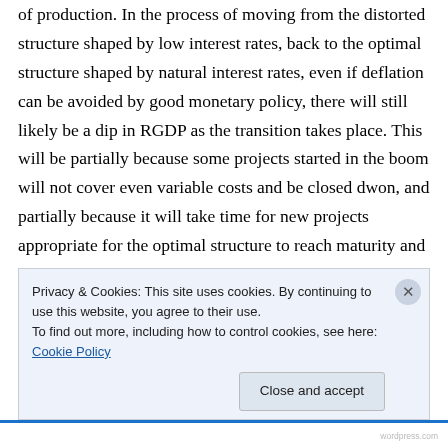of production. In the process of moving from the distorted structure shaped by low interest rates, back to the optimal structure shaped by natural interest rates, even if deflation can be avoided by good monetary policy, there will still likely be a dip in RGDP as the transition takes place. This will be partially because some projects started in the boom will not cover even variable costs and be closed dwon, and partially because it will take time for new projects appropriate for the optimal structure to reach maturity and their peak output
Privacy & Cookies: This site uses cookies. By continuing to use this website, you agree to their use.
To find out more, including how to control cookies, see here: Cookie Policy
Close and accept